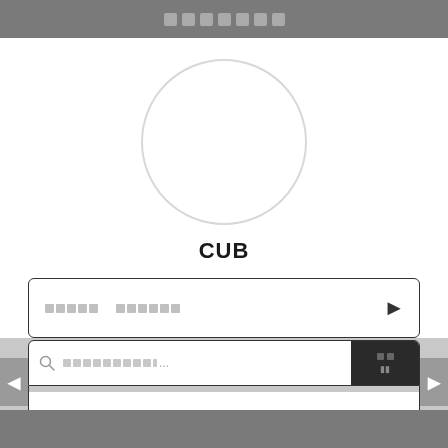▪▪▪▪▪▪
[Figure (illustration): A large empty circle outline, centered, representing a profile picture placeholder]
CUB
▪▪▪▪  ▪▪▪▪▪▪  ▶
🔍 ▪▪▪▪▪▪▪▪▪...  [button: ▪▪]
▪▪▪▪▪▪  ▼